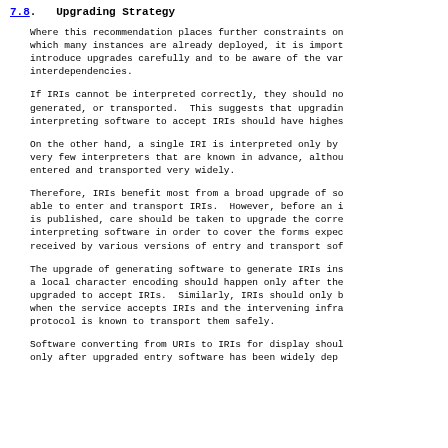7.8. Upgrading Strategy
Where this recommendation places further constraints on which many instances are already deployed, it is import introduce upgrades carefully and to be aware of the var interdependencies.
If IRIs cannot be interpreted correctly, they should no generated, or transported. This suggests that upgradin interpreting software to accept IRIs should have highes
On the other hand, a single IRI is interpreted only by very few interpreters that are known in advance, althou entered and transported very widely.
Therefore, IRIs benefit most from a broad upgrade of so able to enter and transport IRIs. However, before an i is published, care should be taken to upgrade the corre interpreting software in order to cover the forms expec received by various versions of entry and transport sof
The upgrade of generating software to generate IRIs ins a local character encoding should happen only after the upgraded to accept IRIs. Similarly, IRIs should only b when the service accepts IRIs and the intervening infra protocol is known to transport them safely.
Software converting from URIs to IRIs for display shoul only after upgraded entry software has been widely dep